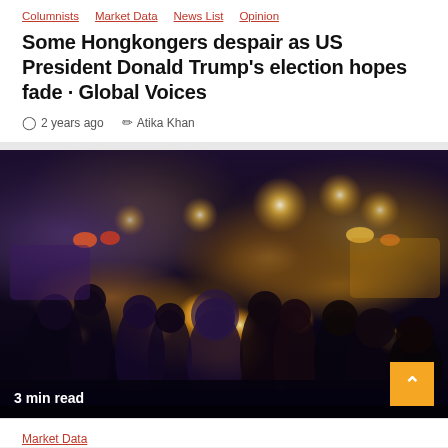Columnists  Market Data  News List  Opinion
Some Hongkongers despair as US President Donald Trump's election hopes fade · Global Voices
2 years ago   Atika Khan
[Figure (photo): Nighttime outdoor crowd scene with people holding candles, cars and bright lights visible in background. Overlay text reads '3 min read'.]
Market Data